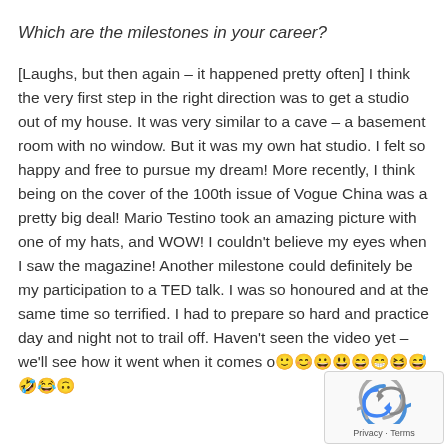Which are the milestones in your career?
[Laughs, but then again – it happened pretty often] I think the very first step in the right direction was to get a studio out of my house. It was very similar to a cave – a basement room with no window. But it was my own hat studio. I felt so happy and free to pursue my dream! More recently, I think being on the cover of the 100th issue of Vogue China was a pretty big deal! Mario Testino took an amazing picture with one of my hats, and WOW! I couldn't believe my eyes when I saw the magazine! Another milestone could definitely be my participation to a TED talk. I was so honoured and at the same time so terrified. I had to prepare so hard and practice day and night not to trail off. Haven't seen the video yet – we'll see how it went when it comes o🙂😊😀😃😄😁😆😅🤣😂🙃
[Figure (other): reCAPTCHA badge with spinning arrows icon and Privacy · Terms links]